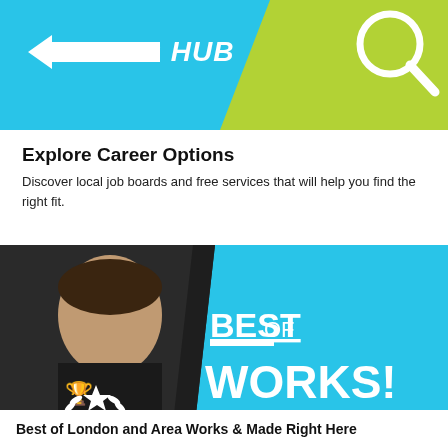[Figure (illustration): Hiring Hub banner with cyan background, italic bold 'HIRING HUB' text with arrow, and green-yellow diagonal section on the right with a magnifying glass icon]
Explore Career Options
Discover local job boards and free services that will help you find the right fit.
[Figure (photo): Video thumbnail showing a man in a black shirt on the left half and cyan background on the right with bold text 'BEST OF WORKS!' and a star/laurel badge in the lower left]
Best of London and Area Works & Made Right Here